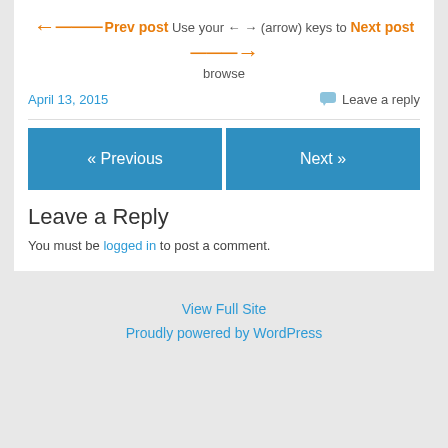← Prev post  Use your ← → (arrow) keys to  Next post →  browse
April 13, 2015
Leave a reply
« Previous
Next »
Leave a Reply
You must be logged in to post a comment.
View Full Site
Proudly powered by WordPress